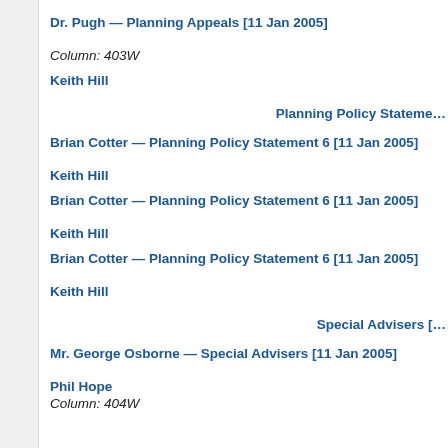Dr. Pugh — Planning Appeals [11 Jan 2005]
Column: 403W
Keith Hill
Planning Policy Stateme…
Brian Cotter — Planning Policy Statement 6 [11 Jan 2005]
Keith Hill
Brian Cotter — Planning Policy Statement 6 [11 Jan 2005]
Keith Hill
Brian Cotter — Planning Policy Statement 6 [11 Jan 2005]
Keith Hill
Special Advisers […
Mr. George Osborne — Special Advisers [11 Jan 2005]
Phil Hope
Column: 404W